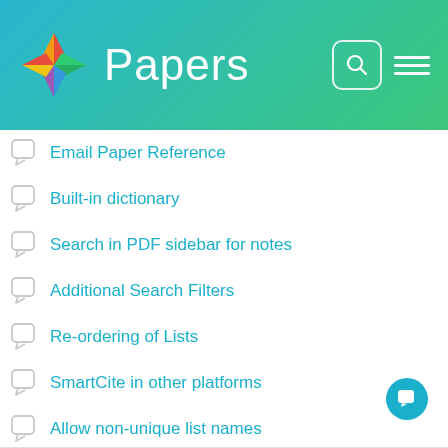Papers
Email Paper Reference
Built-in dictionary
Search in PDF sidebar for notes
Additional Search Filters
Re-ordering of Lists
SmartCite in other platforms
Allow non-unique list names
Bring back “Literature types” when sorting the files
Merge duplicate files
Table of content
See all 552 topics